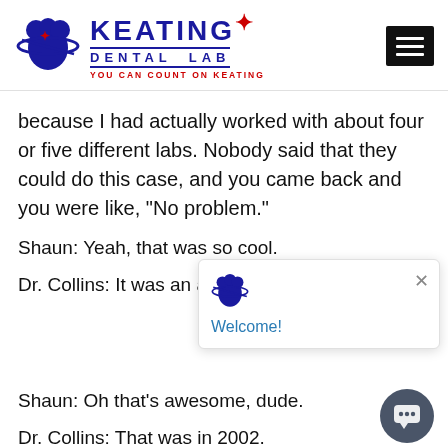Keating Dental Lab — You Can Count On Keating
because I had actually worked with about four or five different labs. Nobody said that they could do this case, and you came back and you were like, “No problem.”
Shaun: Yeah, that was so cool.
Dr. Collins: It was an awe
[Figure (screenshot): Chat popup widget with Keating tooth logo and 'Welcome!' text]
Shaun: Oh that’s awesome, dude.
Dr. Collins: That was in 2002.